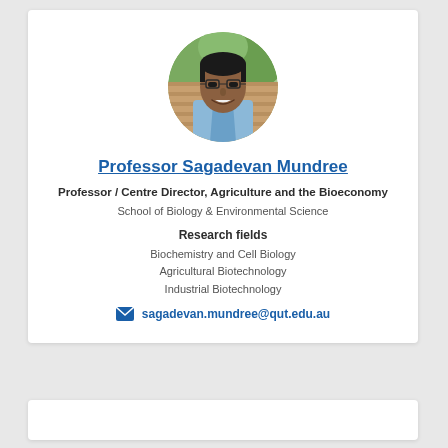[Figure (photo): Circular profile photo of Professor Sagadevan Mundree, a man wearing glasses and a light blue shirt, smiling, with green foliage in the background.]
Professor Sagadevan Mundree
Professor / Centre Director, Agriculture and the Bioeconomy
School of Biology & Environmental Science
Research fields
Biochemistry and Cell Biology
Agricultural Biotechnology
Industrial Biotechnology
sagadevan.mundree@qut.edu.au